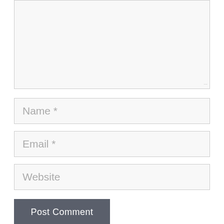[Figure (screenshot): A comment form with a large textarea at the top (resizable), followed by input fields for Name (required), Email (required), and Website, and a Post Comment submit button.]
Name *
Email *
Website
Post Comment